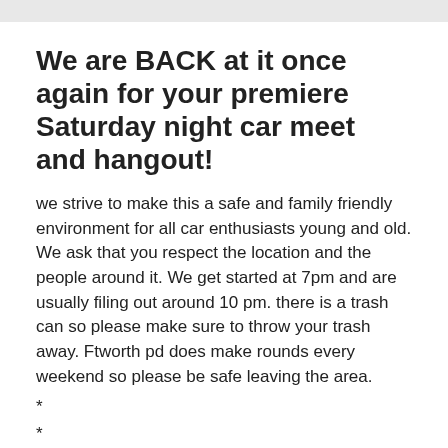We are BACK at it once again for your premiere Saturday night car meet and hangout!
we strive to make this a safe and family friendly environment for all car enthusiasts young and old. We ask that you respect the location and the people around it. We get started at 7pm and are usually filing out around 10 pm. there is a trash can so please make sure to throw your trash away. Ftworth pd does make rounds every weekend so please be safe leaving the area.
*
*
*
*
We're Always recruiting in the DFW area for all makes and models. Check us out for upcoming meets and events on Instagram or check our Facebook page out